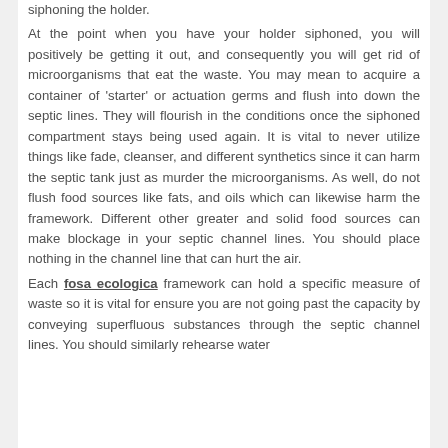siphoning the holder.
At the point when you have your holder siphoned, you will positively be getting it out, and consequently you will get rid of microorganisms that eat the waste. You may mean to acquire a container of 'starter' or actuation germs and flush into down the septic lines. They will flourish in the conditions once the siphoned compartment stays being used again. It is vital to never utilize things like fade, cleanser, and different synthetics since it can harm the septic tank just as murder the microorganisms. As well, do not flush food sources like fats, and oils which can likewise harm the framework. Different other greater and solid food sources can make blockage in your septic channel lines. You should place nothing in the channel line that can hurt the air.
Each fosa ecologica framework can hold a specific measure of waste so it is vital for ensure you are not going past the capacity by conveying superfluous substances through the septic channel lines. You should similarly rehearse water